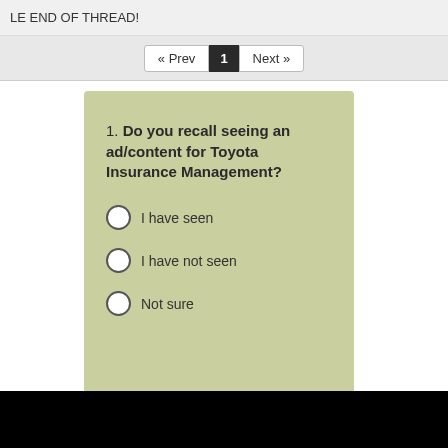LE END OF THREAD!
« Prev  1  Next »
1. Do you recall seeing an ad/content for Toyota Insurance Management?
I have seen
I have not seen
Not sure